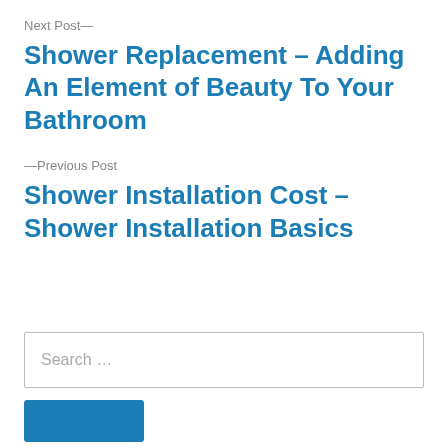Next Post—
Shower Replacement – Adding An Element of Beauty To Your Bathroom
—Previous Post
Shower Installation Cost – Shower Installation Basics
Search …